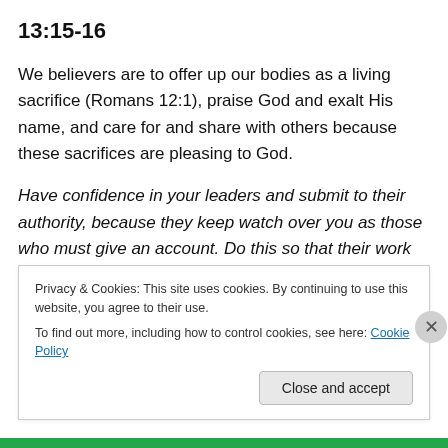13:15-16
We believers are to offer up our bodies as a living sacrifice (Romans 12:1), praise God and exalt His name, and care for and share with others because these sacrifices are pleasing to God.
Have confidence in your leaders and submit to their authority, because they keep watch over you as those who must give an account. Do this so that their work will be a joy, not a burden, for that would be of no benefit to you.
Hebrews 13:17
Privacy & Cookies: This site uses cookies. By continuing to use this website, you agree to their use.
To find out more, including how to control cookies, see here: Cookie Policy